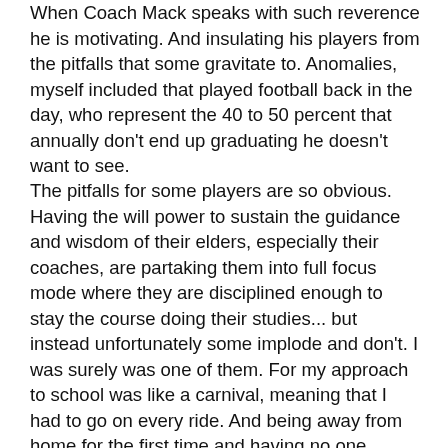When Coach Mack speaks with such reverence he is motivating. And insulating his players from the pitfalls that some gravitate to. Anomalies, myself included that played football back in the day, who represent the 40 to 50 percent that annually don't end up graduating he doesn't want to see.
The pitfalls for some players are so obvious. Having the will power to sustain the guidance and wisdom of their elders, especially their coaches, are partaking them into full focus mode where they are disciplined enough to stay the course doing their studies... but instead unfortunately some implode and don't. I was surely was one of them. For my approach to school was like a carnival, meaning that I had to go on every ride. And being away from home for the first time and having no one looking over my shoulder it was easy to fall prey to the vices of what other kids and team mates succumb to,like partying,smoking,fornicating and drinking. With occasional all nighters being the norm. Keg parties on